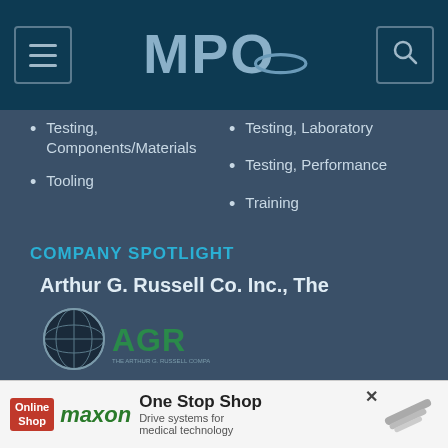MPO navigation bar
Testing, Components/Materials
Tooling
Testing, Laboratory
Testing, Performance
Training
COMPANY SPOTLIGHT
Arthur G. Russell Co. Inc., The
[Figure (logo): AGR (Arthur G. Russell) company logo with globe icon and green AGR text]
750 Clark Avenue
Bristol, CT 06010
United States
View Profile
[Figure (infographic): Maxon One Stop Shop advertisement banner: Drive systems for medical technology]